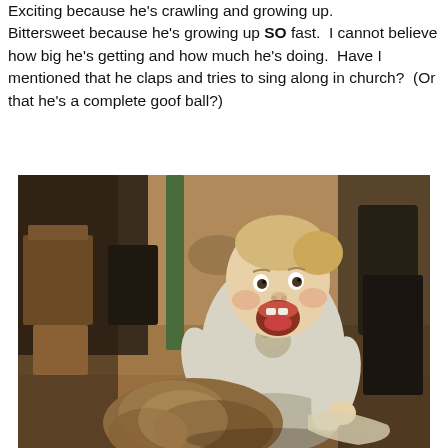Exciting because he's crawling and growing up. Bittersweet because he's growing up SO fast. I cannot believe how big he's getting and how much he's doing. Have I mentioned that he claps and tries to sing along in church? (Or that he's a complete goof ball?)
[Figure (photo): A baby sitting on a hardwood floor holding a stuffed teddy bear, wearing a white long-sleeve shirt with a bear graphic, mouth open wide, with a blurred living room background.]